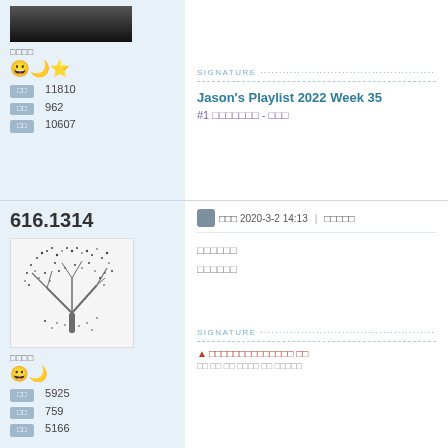[Figure (photo): User profile image - dark photo top left]
□□□□
[Figure (illustration): Emoji icons: smiley, moon, star]
□□ 11810
□□ 962
□□ 10607
SIGNATURE
Jason's Playlist 2022 Week 35
#1 □□□□□□□ - □□□
616.1314
□□□ 2020-3-2 14:13  |  □□□□□
[Figure (illustration): Stylized tree made of dots/stippling artwork]
□□□□□□
□□□□□□
□□□□
[Figure (illustration): Emoji icons: smiley, moon]
□□ 5925
□□ 759
□□ 5166
SIGNATURE
▲□□□□□□□□□□□□□□ □□
□□ □□ □□ □□□□ □□ □□□□□